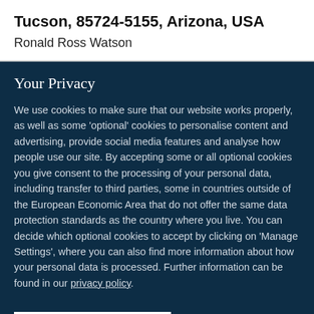Tucson, 85724-5155, Arizona, USA
Ronald Ross Watson
Your Privacy
We use cookies to make sure that our website works properly, as well as some ‘optional’ cookies to personalise content and advertising, provide social media features and analyse how people use our site. By accepting some or all optional cookies you give consent to the processing of your personal data, including transfer to third parties, some in countries outside of the European Economic Area that do not offer the same data protection standards as the country where you live. You can decide which optional cookies to accept by clicking on ‘Manage Settings’, where you can also find more information about how your personal data is processed. Further information can be found in our privacy policy.
Accept all cookies
Manage preferences